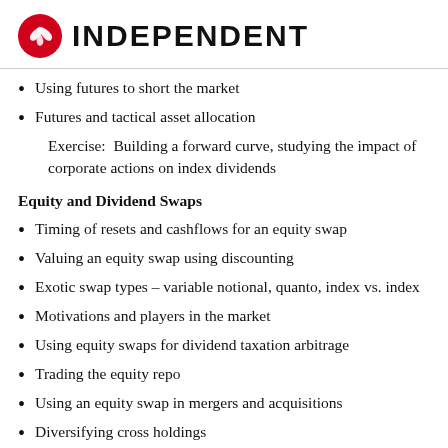INDEPENDENT
Using futures to short the market
Futures and tactical asset allocation
Exercise:  Building a forward curve, studying the impact of corporate actions on index dividends
Equity and Dividend Swaps
Timing of resets and cashflows for an equity swap
Valuing an equity swap using discounting
Exotic swap types – variable notional, quanto, index vs. index
Motivations and players in the market
Using equity swaps for dividend taxation arbitrage
Trading the equity repo
Using an equity swap in mergers and acquisitions
Diversifying cross holdings
Overlay strategies for asset managers